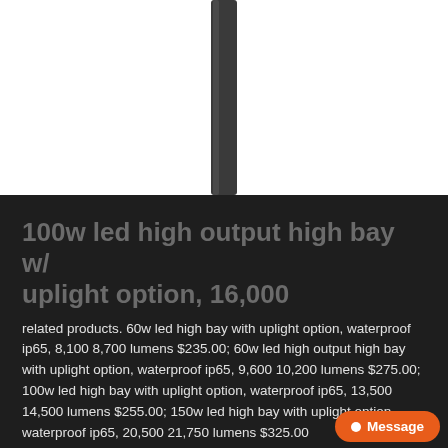[Figure (photo): A dark grey/black elongated pole or tube shown vertically against a white background, representing the product being sold.]
100w led high output high bay w/ uplight option, 16,000
related products. 60w led high bay with uplight option, waterproof ip65, 8,100 8,700 lumens $235.00; 60w led high output high bay with uplight option, waterproof ip65, 9,600 10,200 lumens $275.00; 100w led high bay with uplight option, waterproof ip65, 13,500 14,500 lumens $255.00; 150w led high bay with uplight option, waterproof ip65, 20,500 21,750 lumens $325.00
Message